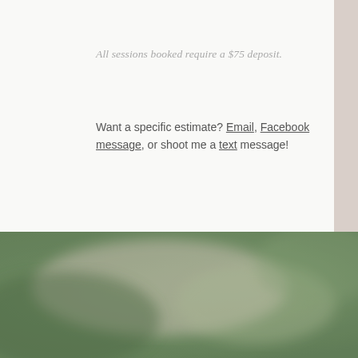All sessions booked require a $75 deposit.
Want a specific estimate? Email, Facebook message, or shoot me a text message!
[Figure (photo): Blurred outdoor nature photo showing green foliage and light-colored elements, likely a wedding or portrait photography setting]